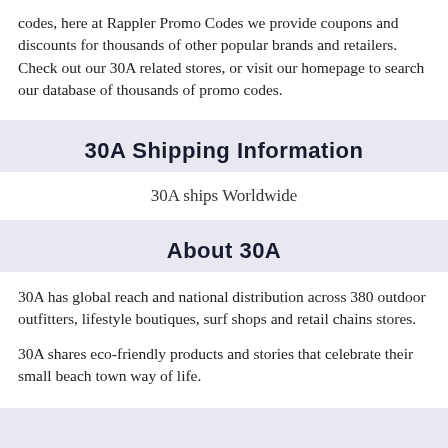codes, here at Rappler Promo Codes we provide coupons and discounts for thousands of other popular brands and retailers. Check out our 30A related stores, or visit our homepage to search our database of thousands of promo codes.
30A Shipping Information
30A ships Worldwide
About 30A
30A has global reach and national distribution across 380 outdoor outfitters, lifestyle boutiques, surf shops and retail chains stores.
30A shares eco-friendly products and stories that celebrate their small beach town way of life.